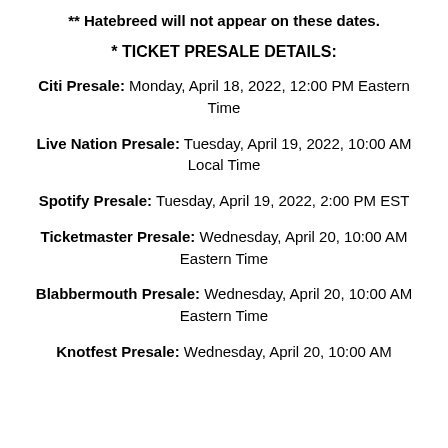** Hatebreed will not appear on these dates.
* TICKET PRESALE DETAILS:
Citi Presale: Monday, April 18, 2022, 12:00 PM Eastern Time
Live Nation Presale: Tuesday, April 19, 2022, 10:00 AM Local Time
Spotify Presale: Tuesday, April 19, 2022, 2:00 PM EST
Ticketmaster Presale: Wednesday, April 20, 10:00 AM Eastern Time
Blabbermouth Presale: Wednesday, April 20, 10:00 AM Eastern Time
Knotfest Presale: Wednesday, April 20, 10:00 AM